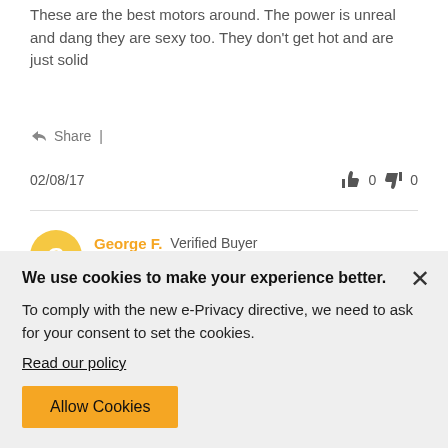These are the best motors around. The power is unreal and dang they are sexy too. They don't get hot and are just solid
Share |
02/08/17  👍 0  👎 0
George F. Verified Buyer ★☆☆☆☆
"Luck of the Draw"
Needed a replacement and when I received it was locked up. I love this hobby, but when you start wasting money it
We use cookies to make your experience better. To comply with the new e-Privacy directive, we need to ask for your consent to set the cookies. Read our policy Allow Cookies